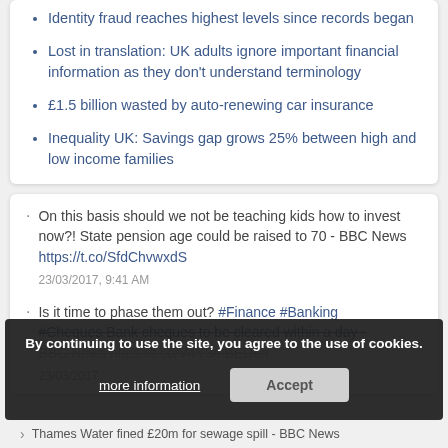Identity fraud reaches highest levels since records began
Lost in translation: UK adults ignore important financial information as they don't understand terminology
£1.5 billion wasted by auto-renewing car insurance
Inequality UK: Savings gap grows 25% between high and low income families
On this basis should we not be teaching kids how to invest now?! State pension age could be raised to 70 - BBC News https://t.co/SfdChvwxdS
23/03/2017, 9:41 AM
Is it time to phase them out? #Finance #Banking #Cheques Bank cheques to be cleared within a day - BBC News https://t.co/V4Y3mBED6n
23/03/2017
Thames Water fined £20m for sewage spill - BBC News
By continuing to use the site, you agree to the use of cookies.
more information
Accept